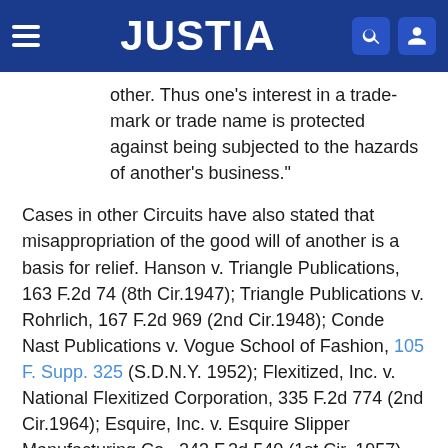JUSTIA
other. Thus one's interest in a trade-mark or trade name is protected against being subjected to the hazards of another's business."
Cases in other Circuits have also stated that misappropriation of the good will of another is a basis for relief. Hanson v. Triangle Publications, 163 F.2d 74 (8th Cir.1947); Triangle Publications v. Rohrlich, 167 F.2d 969 (2nd Cir.1948); Conde Nast Publications v. Vogue School of Fashion, 105 F. Supp. 325 (S.D.N.Y. 1952); Flexitized, Inc. v. National Flexitized Corporation, 335 F.2d 774 (2nd Cir.1964); Esquire, Inc. v. Esquire Slipper Manufacturing Co., 243 F.2d 540 (1st Cir. 1957). In all of these cases, there was no direct competition between the parties. The issues in the two prior cases involving Triangle Publications, supra, are almost identical with